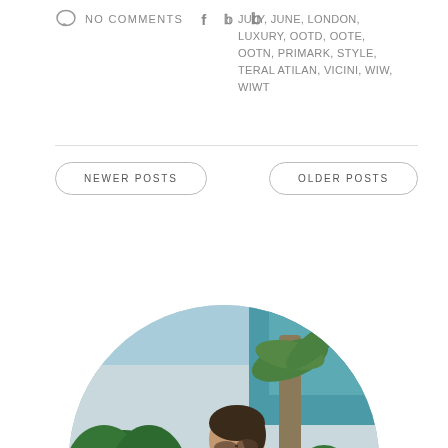NO COMMENTS
JULY, JUNE, LONDON, LUXURY, OOTD, OOTE, OOTN, PRIMARK, STYLE, TERAL ATILAN, VICINI, WIW, WIWT
NEWER POSTS
OLDER POSTS
[Figure (photo): A woman in a white embroidered dress with black tassel earrings and sunglasses, sitting outdoors near a pool with tropical plants in the background, displayed in a circular crop.]